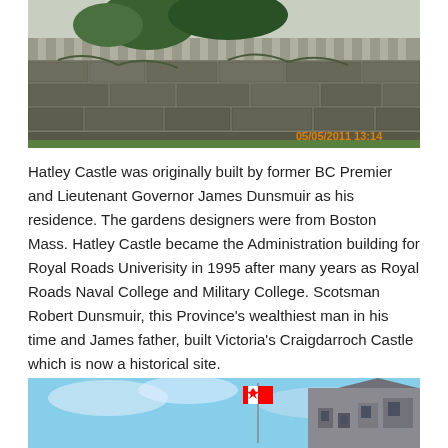[Figure (photo): Photograph of a stone retaining wall garden with palm trees and tropical vegetation, with a date timestamp '05/05/2011 13:14' in orange text on the lower right.]
Hatley Castle was originally built by former BC Premier and Lieutenant Governor James Dunsmuir as his residence.  The gardens designers were from Boston Mass.  Hatley Castle became the Administration building for Royal Roads Univerisity in 1995 after many years as Royal Roads Naval College and Military College.  Scotsman Robert Dunsmuir, this Province's wealthiest man in his time and James father, built Victoria's Craigdarroch Castle which is now a historical site.
[Figure (photo): Photograph of Hatley Castle or Craigdarroch Castle building with a Canadian flag flying on a flagpole against a blue sky.]